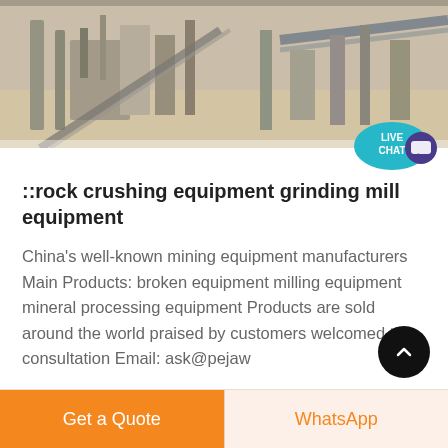[Figure (photo): Mining and rock crushing equipment facility photo — industrial machinery, conveyors, and dust visible outdoors]
::rock crushing equipment grinding mill equipment
China's well-known mining equipment manufacturers Main Products: broken equipment milling equipment mineral processing equipment Products are sold around the world praised by customers welcomed the consultation Email: ask@pejaw
Get price
Get a Quote   WhatsApp